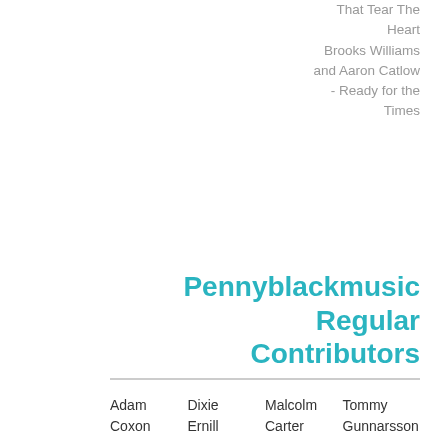That Tear The Heart Brooks Williams and Aaron Catlow - Ready for the Times
Pennyblackmusic Regular Contributors
| Col1 | Col2 | Col3 | Col4 |
| --- | --- | --- | --- |
| Adam Coxon | Dixie Ernil | Malcolm Carter | Tommy Gunnarsson |
| Adrian | Dominic | Marie | Zena |